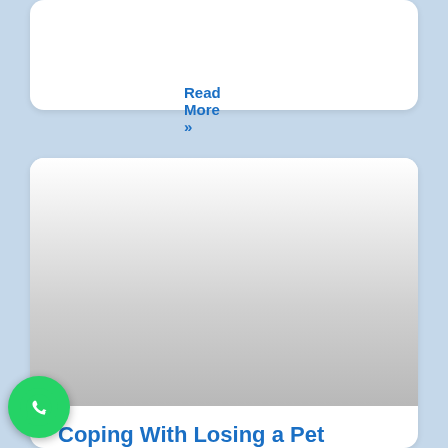Read More »
[Figure (photo): Placeholder image area with gradient from white to grey, representing a pet-related photograph]
Coping With Losing a Pet
Losing a pet is sad, and the grief from it can be very difficult. But there are ways for coping with losing a pet and